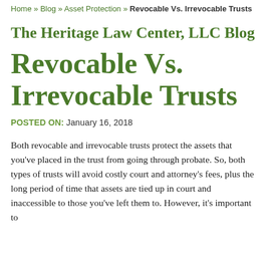Home » Blog » Asset Protection » Revocable Vs. Irrevocable Trusts
The Heritage Law Center, LLC Blog
Revocable Vs. Irrevocable Trusts
POSTED ON: January 16, 2018
Both revocable and irrevocable trusts protect the assets that you've placed in the trust from going through probate. So, both types of trusts will avoid costly court and attorney's fees, plus the long period of time that assets are tied up in court and inaccessible to those you've left them to. However, it's important to